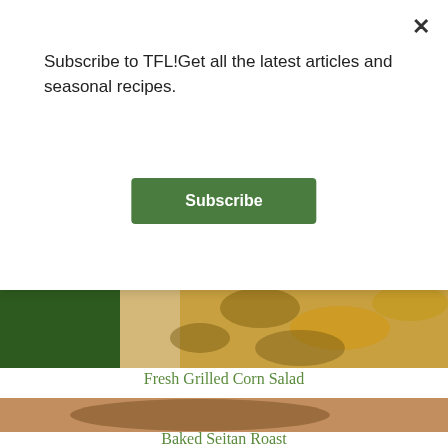Subscribe to TFL!Get all the latest articles and seasonal recipes.
[Figure (other): Subscribe button — green rounded rectangle with white bold text 'Subscribe']
[Figure (photo): Close-up photo of grilled corn salad with mushrooms and vegetables on wooden surface]
Fresh Grilled Corn Salad
[Figure (photo): Close-up photo of sliced baked seitan roast on a wooden cutting board with sauce]
Baked Seitan Roast